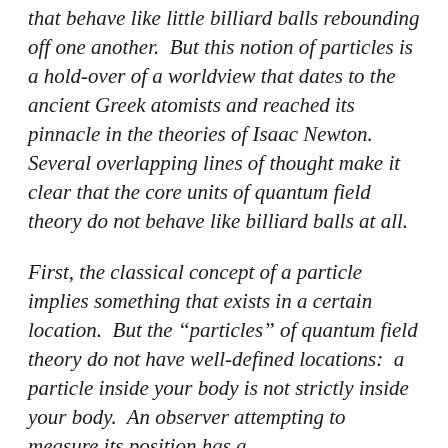that behave like little billiard balls rebounding off one another.  But this notion of particles is a hold-over of a worldview that dates to the ancient Greek atomists and reached its pinnacle in the theories of Isaac Newton.  Several overlapping lines of thought make it clear that the core units of quantum field theory do not behave like billiard balls at all.
First, the classical concept of a particle implies something that exists in a certain location.  But the “particles” of quantum field theory do not have well-defined locations:  a particle inside your body is not strictly inside your body.  An observer attempting to measure its position has a